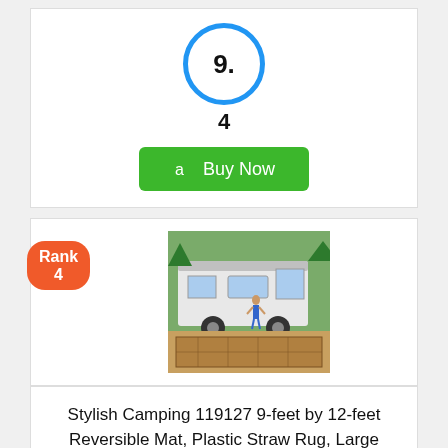[Figure (other): Score circle showing 9. with 4 below, in blue circle, above a green Buy Now button]
[Figure (other): Rank 4 badge on left, product photo of a reversible outdoor rug laid outside a camping trailer]
Stylish Camping 119127 9-feet by 12-feet Reversible Mat, Plastic Straw Rug, Large Floor Mat for...
Editorial Score:
[Figure (other): Bottom of blue score circle showing numeral 9]